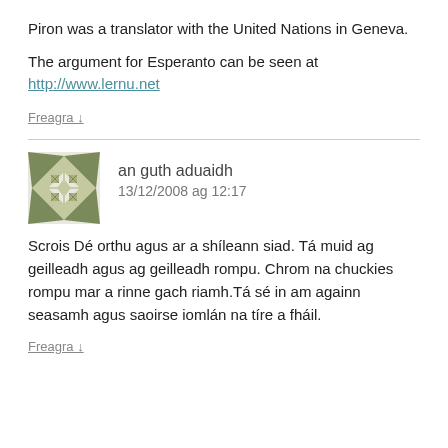Piron was a translator with the United Nations in Geneva.
The argument for Esperanto can be seen at http://www.lernu.net
Freagra ↓
[Figure (other): User avatar icon with geometric diamond/cross pattern in olive/grey tones]
an guth aduaidh
13/12/2008 ag 12:17
Scrois Dé orthu agus ar a shíleann siad. Tá muid ag geilleadh agus ag geilleadh rompu. Chrom na chuckies rompu mar a rinne gach riamh.Tá sé in am againn seasamh agus saoirse iomlán na tíre a fháil.
Freagra ↓